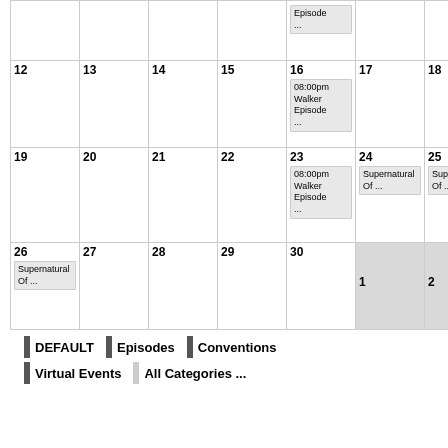| Sun | Mon | Tue | Wed | Thu | Fri | Sat |
| --- | --- | --- | --- | --- | --- | --- |
|  |  |  |  |  | Episode ... |  |
| 12 | 13 | 14 | 15 | 16
08:00pm Walker Episode ... | 17 | 18 |
| 19 | 20 | 21 | 22 | 23
08:00pm Walker Episode ... | 24
Supernatural Of ... | 25
Supernatural Of ... |
| 26
Supernatural Of ... | 27 | 28 | 29 | 30 | (gray)1 | (gray)2 |
DEFAULT
Episodes
Conventions
Virtual Events
All Categories ...